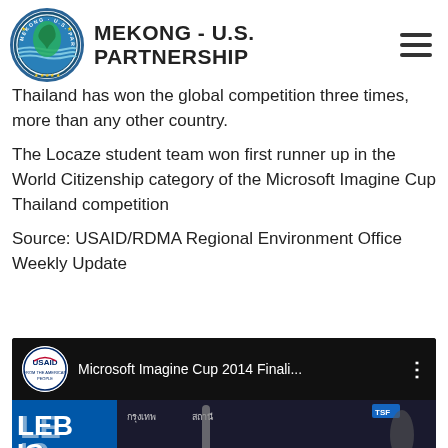MEKONG - U.S. PARTNERSHIP
Thailand has won the global competition three times, more than any other country.
The Locaze student team won first runner up in the World Citizenship category of the Microsoft Imagine Cup Thailand competition
Source: USAID/RDMA Regional Environment Office Weekly Update
[Figure (screenshot): YouTube video thumbnail showing Microsoft Imagine Cup 2014 Finali... with USAID logo and video thumbnail of Thai street scene]